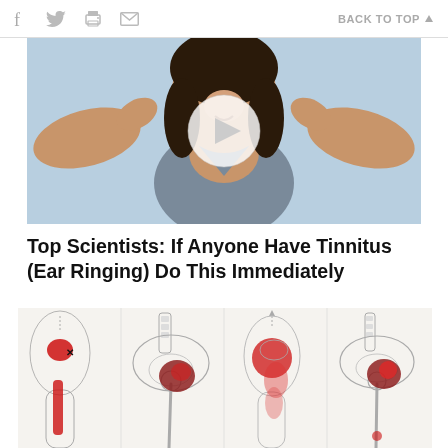f  [twitter] [print] [email]   BACK TO TOP ▲
[Figure (photo): Woman stretching her arms wide with a video play button overlay, wearing a grey tank top against a light blue background]
Top Scientists: If Anyone Have Tinnitus (Ear Ringing) Do This Immediately
[Figure (illustration): Medical illustration showing four views of hip/pelvis anatomy with red highlighted pain areas indicating trigger points and referred pain patterns along the leg (piriformis syndrome / sciatic pain diagrams)]